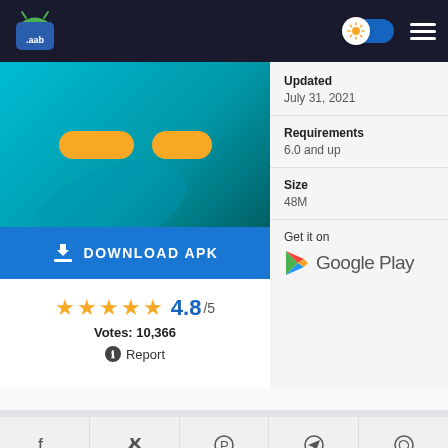.aab app logo header with toggle and hamburger menu
[Figure (screenshot): App screenshot thumbnail with teal background and two yellow pill-shaped buttons]
DOWNLOAD APK
★★★★★ 4.8/5
Votes: 10,366
Report
Updated
July 31, 2021
Requirements
6.0 and up
Size
48M
[Figure (logo): Get it on Google Play logo]
[Figure (other): Social share buttons: Facebook, Twitter, Pinterest, Telegram, WhatsApp]
DESCRIPTION